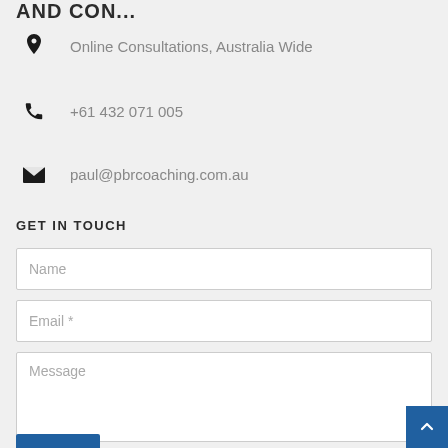AND CON...
Online Consultations, Australia Wide
+61 432 071 005
paul@pbrcoaching.com.au
GET IN TOUCH
Name
Email *
Message